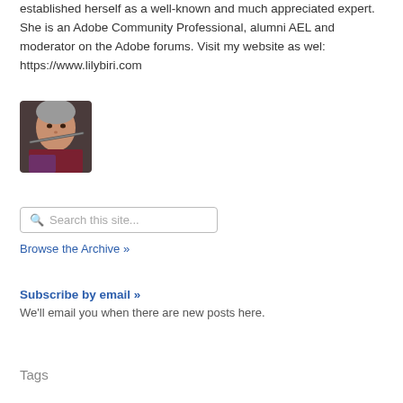established herself as a well-known and much appreciated expert. She is an Adobe Community Professional, alumni AEL and moderator on the Adobe forums. Visit my website as wel: https://www.lilybiri.com
[Figure (photo): Portrait photo of a woman playing a flute instrument, with gray hair, wearing a dark top.]
Search this site...
Browse the Archive »
Subscribe by email »
We'll email you when there are new posts here.
Tags